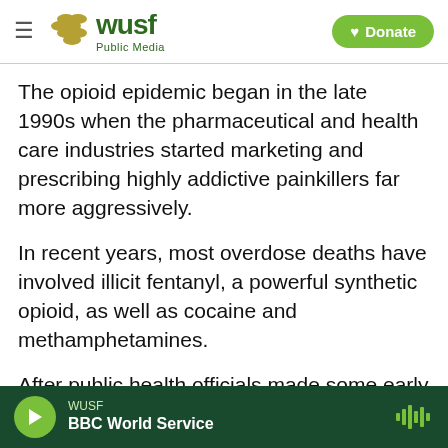WUSF Public Media / Donate
The opioid epidemic began in the late 1990s when the pharmaceutical and health care industries started marketing and prescribing highly addictive painkillers far more aggressively.
In recent years, most overdose deaths have involved illicit fentanyl, a powerful synthetic opioid, as well as cocaine and methamphetamines.
After public health officials made some early progress in reducing drug deaths, researchers found overdoses began rising again after 2013 with a sharp increase in fatalities during the first year of
WUSF — BBC World Service